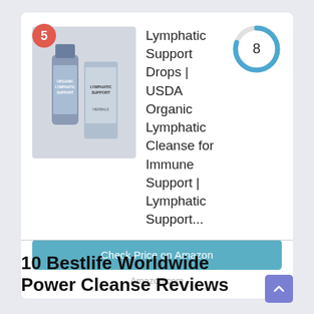[Figure (photo): Product card showing NutrRev Organic Lymphatic Support Drops bottle and package with a number 5 badge. A donut/gauge chart shows score of 8.]
Lymphatic Support Drops | USDA Organic Lymphatic Cleanse for Immune Support | Lymphatic Support...
Check Price on Amazon
Amazon.com
10 Bestlife Worldwide Power Cleanse Reviews